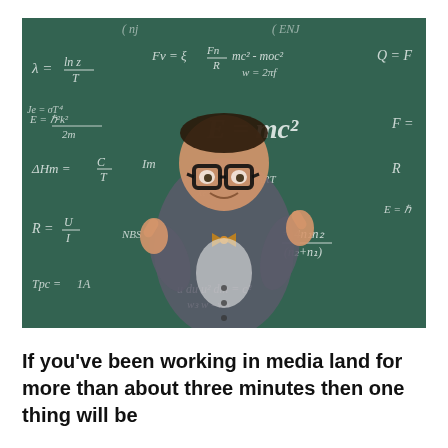[Figure (photo): A young boy dressed in a suit vest, bow tie, and large glasses giving two thumbs up in front of a green chalkboard filled with scientific and mathematical equations such as E=mc², PV=nRT, and others.]
If you've been working in media land for more than about three minutes then one thing will be